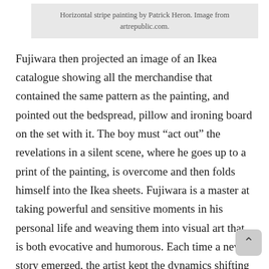Horizontal stripe painting by Patrick Heron. Image from artrepublic.com.
Fujiwara then projected an image of an Ikea catalogue showing all the merchandise that contained the same pattern as the painting, and pointed out the bedspread, pillow and ironing board on the set with it. The boy must “act out” the revelations in a silent scene, where he goes up to a print of the painting, is overcome and then folds himself into the Ikea sheets. Fujiwara is a master at taking powerful and sensitive moments in his personal life and weaving them into visual art that is both evocative and humorous. Each time a new story emerged, the artist kept the dynamics shifting and never rested on one tone or emotion. As a result, moments that seemed dark were